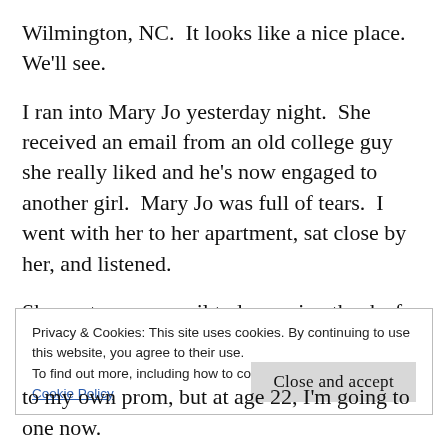Wilmington, NC.  It looks like a nice place.  We'll see.
I ran into Mary Jo yesterday night.  She received an email from an old college guy she really liked and he's now engaged to another girl.  Mary Jo was full of tears.  I went with her to her apartment, sat close by her, and listened.
She sent me an email today saying thanks for listening.  I wrote her back, telling her she was a complete treasure.
Privacy & Cookies: This site uses cookies. By continuing to use this website, you agree to their use.
To find out more, including how to control cookies, see here:
Cookie Policy
Close and accept
to my own prom, but at age 22, I'm going to one now.